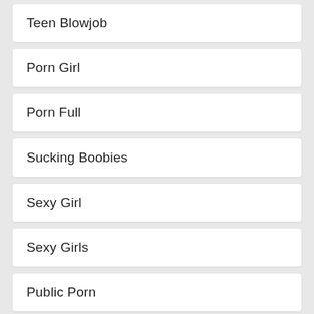Teen Blowjob
Porn Girl
Porn Full
Sucking Boobies
Sexy Girl
Sexy Girls
Public Porn